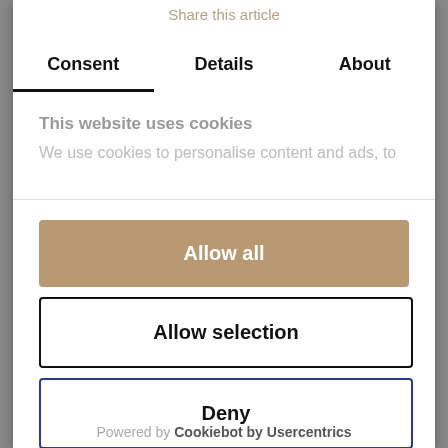Share this article
Consent	Details	About
This website uses cookies
We use cookies to personalise content and ads, to
Allow all
Allow selection
Deny
Powered by Cookiebot by Usercentrics